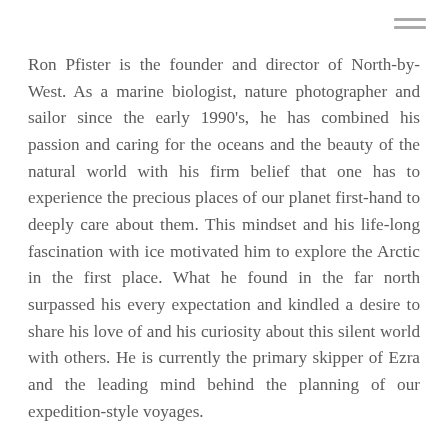Ron Pfister is the founder and director of North-by-West. As a marine biologist, nature photographer and sailor since the early 1990's, he has combined his passion and caring for the oceans and the beauty of the natural world with his firm belief that one has to experience the precious places of our planet first-hand to deeply care about them. This mindset and his life-long fascination with ice motivated him to explore the Arctic in the first place. What he found in the far north surpassed his every expectation and kindled a desire to share his love of and his curiosity about this silent world with others. He is currently the primary skipper of Ezra and the leading mind behind the planning of our expedition-style voyages.